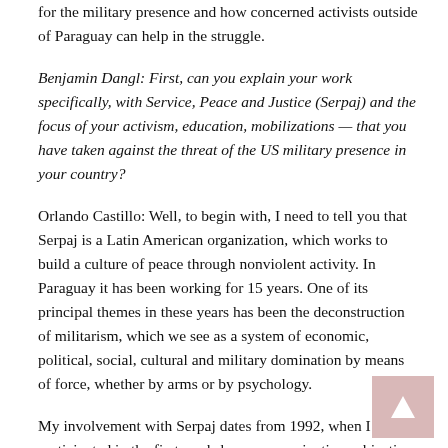for the military presence and how concerned activists outside of Paraguay can help in the struggle.
Benjamin Dangl: First, can you explain your work specifically, with Service, Peace and Justice (Serpaj) and the focus of your activism, education, mobilizations — that you have taken against the threat of the US military presence in your country?
Orlando Castillo: Well, to begin with, I need to tell you that Serpaj is a Latin American organization, which works to build a culture of peace through nonviolent activity. In Paraguay it has been working for 15 years. One of its principal themes in these years has been the deconstruction of militarism, which we see as a system of economic, political, social, cultural and military domination by means of force, whether by arms or by psychology.
My involvement with Serpaj dates from 1992, when I participated in the first workshop on conscientious objection,